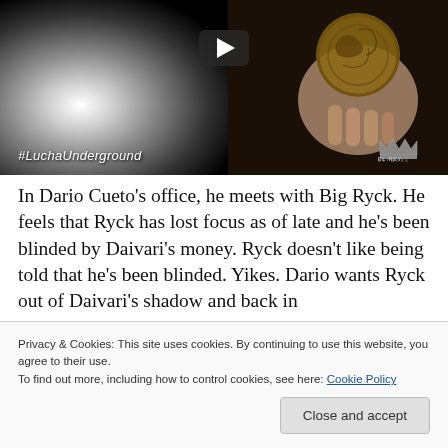[Figure (screenshot): Video thumbnail showing a hand holding an ornate circular medallion/disc, with a bright white light glow on the left side against a dark background. A play button is visible in the upper center. The hashtag #LuchaUnderground appears in the lower left, and the El Rey Network logo appears in the lower right.]
In Dario Cueto's office, he meets with Big Ryck. He feels that Ryck has lost focus as of late and he's been blinded by Daivari's money. Ryck doesn't like being told that he's been blinded. Yikes. Dario wants Ryck out of Daivari's shadow and back in
Privacy & Cookies: This site uses cookies. By continuing to use this website, you agree to their use.
To find out more, including how to control cookies, see here: Cookie Policy
Close and accept